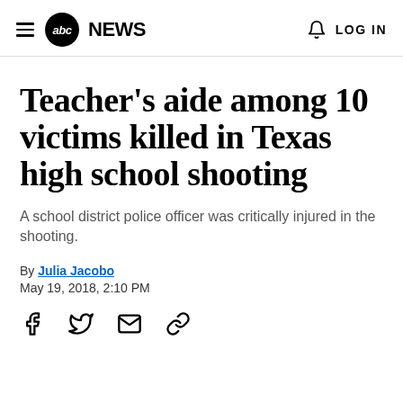abc NEWS   LOG IN
Teacher's aide among 10 victims killed in Texas high school shooting
A school district police officer was critically injured in the shooting.
By Julia Jacobo
May 19, 2018, 2:10 PM
[Figure (infographic): Social sharing icons: Facebook, Twitter, Email, Link]